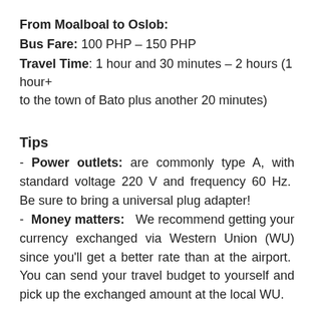From Moalboal to Oslob:
Bus Fare: 100 PHP – 150 PHP
Travel Time: 1 hour and 30 minutes – 2 hours (1 hour+ to the town of Bato plus another 20 minutes)
Tips
Power outlets: are commonly type A, with standard voltage 220 V and frequency 60 Hz. Be sure to bring a universal plug adapter!
Money matters: We recommend getting your currency exchanged via Western Union (WU) since you'll get a better rate than at the airport. You can send your travel budget to yourself and pick up the exchanged amount at the local WU.